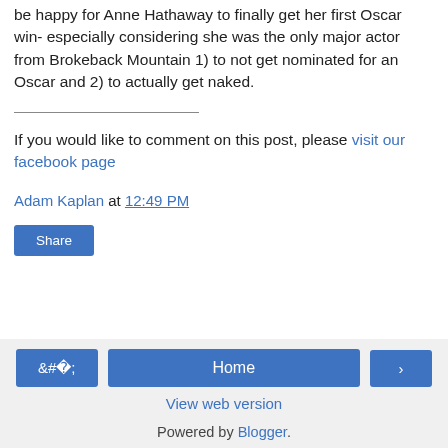be happy for Anne Hathaway to finally get her first Oscar win- especially considering she was the only major actor from Brokeback Mountain 1) to not get nominated for an Oscar and 2) to actually get naked.
If you would like to comment on this post, please visit our facebook page
Adam Kaplan at 12:49 PM
Share
< Home > View web version Powered by Blogger.